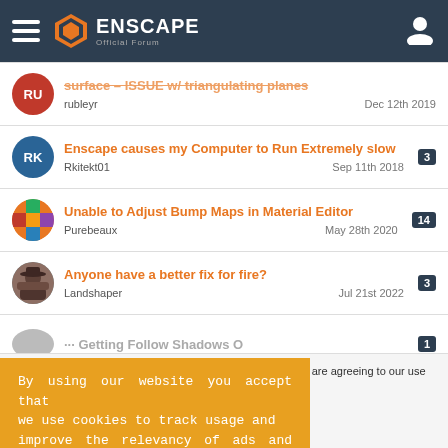Enscape Official Forum
surface – ISSUE w/ triangulating planes | rubleyr | Dec 12th 2019
Enscape causes my Computer to Run Extremely slow | Rkitekt01 | Sep 11th 2018 | replies: 3
Unable to Adjust Bump Maps in Material Editor | Purebeaux | May 28th 2020 | replies: 14
Anyone have a better fix for fire? | Landshaper | Jul 21st 2022 | replies: 3
(partial) ... | Jan 11th 2022 | replies: 1
By using our website you accept that we use cookies to track usage and improve the relevancy of ads and may
This site uses cookies. By continuing to browse this site, you are agreeing to our use of cookies.
More Details | Close